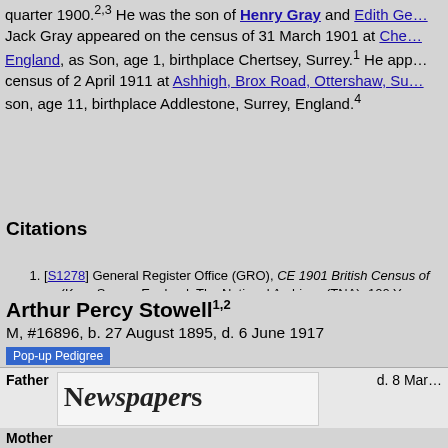quarter 1900. He was the son of Henry Gray and Edith Ge… Jack Gray appeared on the census of 31 March 1901 at Che… England, as Son, age 1, birthplace Chertsey, Surrey. He app… census of 2 April 1911 at Ashhigh, Brox Road, Ottershaw, Su… son, age 11, birthplace Addlestone, Surrey, England.
Citations
[S1278] General Register Office (GRO), CE 1901 British Census of … (Kew, Surrey, England: The National Archives (TNA), 100 Years afte…
[S1289] Multi-volumes, BC0000 General Register Office Index Entry … and Wales: Chertsey Vol 2a page 48, (1837 onwards), General Regi… Southport, Merseyside, England.
[S1273] Various, A0000 Ancestry.co.uk (http://www.ancestry.co.uk/: … Various), Surrey, England, Church of England Baptisms, 1813-1912 … Addlestone, St Paul 1893-1904 Aug.
[S1274] General Register Office (GRO), CE 1911 British Census of … (Kew, Surrey, England: The National Archives (TNA), 100 Years afte…
Arthur Percy Stowell
M, #16896, b. 27 August 1895, d. 6 June 1917
Pop-up Pedigree
Father … d. 8 Mar…
Mother